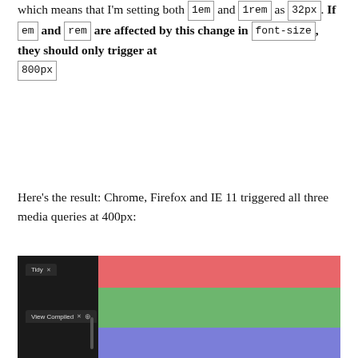which means that I'm setting both 1em and 1rem as 32px. If em and rem are affected by this change in font-size, they should only trigger at 800px
Here's the result: Chrome, Firefox and IE 11 triggered all three media queries at 400px:
[Figure (screenshot): Screenshot of a code editor (dark sidebar with 'Tidy' and 'View Compiled' tabs) next to a colored output panel showing three stacked colored blocks: red (top), green (middle), blue (bottom)]